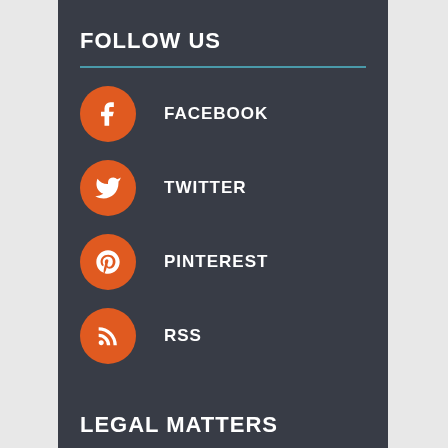FOLLOW US
FACEBOOK
TWITTER
PINTEREST
RSS
LEGAL MATTERS
Iraqi Army Rescued 10 Year Old Girl from